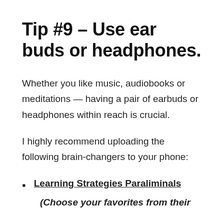Tip #9 – Use ear buds or headphones.
Whether you like music, audiobooks or meditations — having a pair of earbuds or headphones within reach is crucial.
I highly recommend uploading the following brain-changers to your phone:
Learning Strategies Paraliminals
(Choose your favorites from their